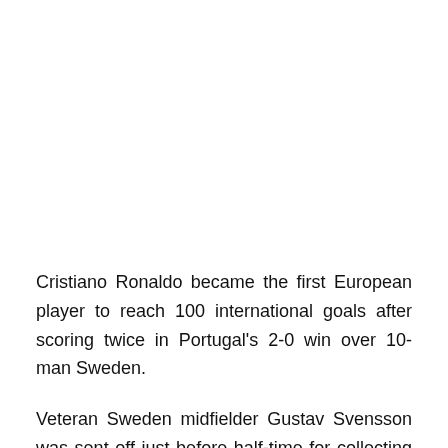Cristiano Ronaldo became the first European player to reach 100 international goals after scoring twice in Portugal's 2-0 win over 10-man Sweden.
Veteran Sweden midfielder Gustav Svensson was sent off just before half-time for collecting a second yellow card, and